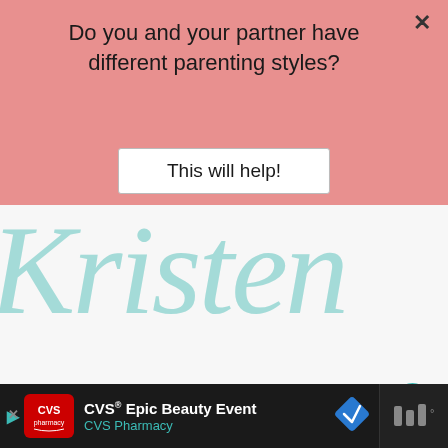[Figure (screenshot): Pink popup overlay on a parenting blog website with a question about parenting styles and a call-to-action button]
Do you and your partner have different parenting styles?
This will help!
[Figure (logo): Kristen cursive script logo in teal/mint color]
[Figure (other): Heart favorite button (teal circle), share button (white circle), up arrow navigation button (gray square)]
WHAT'S NEXT → COVID-19 and Sharing...
CVS® Epic Beauty Event CVS Pharmacy